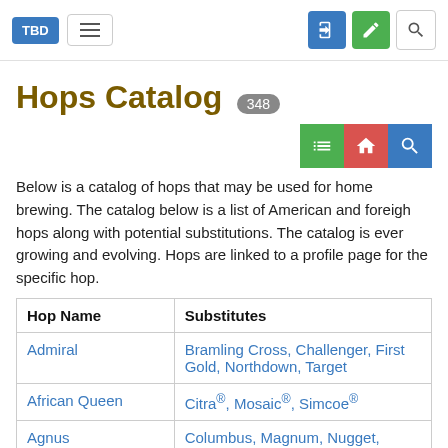TBD | menu | login | edit | search
Hops Catalog 348
[Figure (infographic): Three action icon buttons: green list/table icon, red home icon, blue search icon]
Below is a catalog of hops that may be used for home brewing. The catalog below is a list of American and foreigh hops along with potential substitutions. The catalog is ever growing and evolving. Hops are linked to a profile page for the specific hop.
| Hop Name | Substitutes |
| --- | --- |
| Admiral | Bramling Cross, Challenger, First Gold, Northdown, Target |
| African Queen | Citra®, Mosaic®, Simcoe® |
| Agnus | Columbus, Magnum, Nugget, Target |
| Ahil | None |